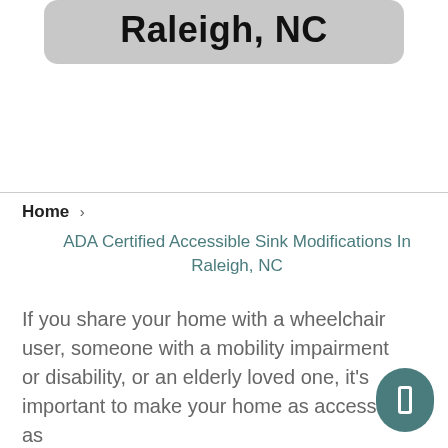Raleigh, NC
Home › ADA Certified Accessible Sink Modifications In Raleigh, NC
If you share your home with a wheelchair user, someone with a mobility impairment or disability, or an elderly loved one, it’s important to make your home as accessible as